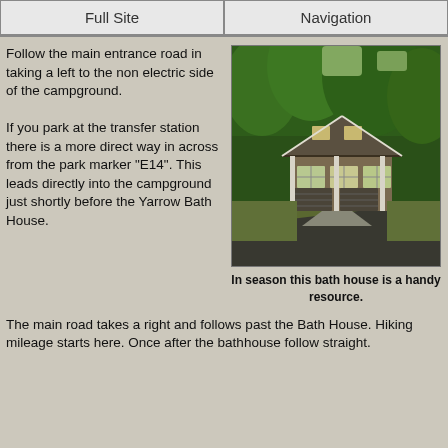Full Site | Navigation
Follow the main entrance road in taking a left to the non electric side of the campground.
If you park at the transfer station there is a more direct way in across from the park marker "E14". This leads directly into the campground just shortly before the Yarrow Bath House.
[Figure (photo): A bath house building surrounded by trees, with a peaked roof and large windows, next to a paved road.]
In season this bath house is a handy resource.
The main road takes a right and follows past the Bath House. Hiking mileage starts here. Once after the bathhouse follow straight.